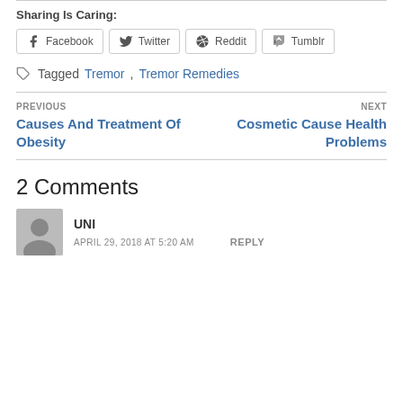Sharing Is Caring:
Facebook  Twitter  Reddit  Tumblr
Tagged Tremor, Tremor Remedies
PREVIOUS
Causes And Treatment Of Obesity
NEXT
Cosmetic Cause Health Problems
2 Comments
UNI
APRIL 29, 2018 AT 5:20 AM
REPLY